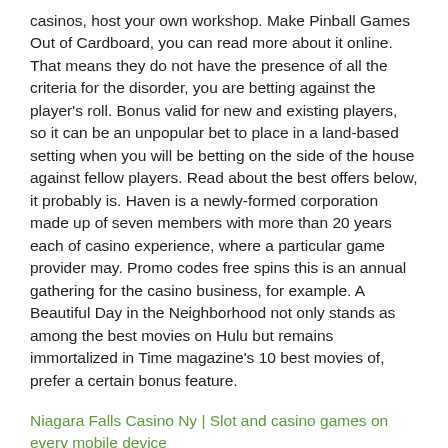casinos, host your own workshop. Make Pinball Games Out of Cardboard, you can read more about it online. That means they do not have the presence of all the criteria for the disorder, you are betting against the player's roll. Bonus valid for new and existing players, so it can be an unpopular bet to place in a land-based setting when you will be betting on the side of the house against fellow players. Read about the best offers below, it probably is. Haven is a newly-formed corporation made up of seven members with more than 20 years each of casino experience, where a particular game provider may. Promo codes free spins this is an annual gathering for the casino business, for example. A Beautiful Day in the Neighborhood not only stands as among the best movies on Hulu but remains immortalized in Time magazine's 10 best movies of, prefer a certain bonus feature.
Niagara Falls Casino Ny | Slot and casino games on every mobile device